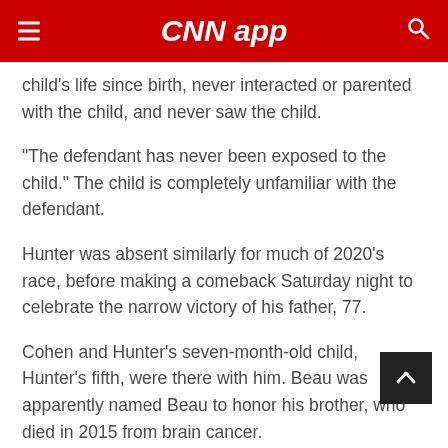CNN app
child's life since birth, never interacted or parented with the child, and never saw the child.
“The defendant has never been exposed to the child.” The child is completely unfamiliar with the defendant.
Hunter was absent similarly for much of 2020’s race, before making a comeback Saturday night to celebrate the narrow victory of his father, 77.
Cohen and Hunter’s seven-month-old child, Hunter’s fifth, were there with him. Beau was apparently named Beau to honor his brother, who died in 2015 from brain cancer.